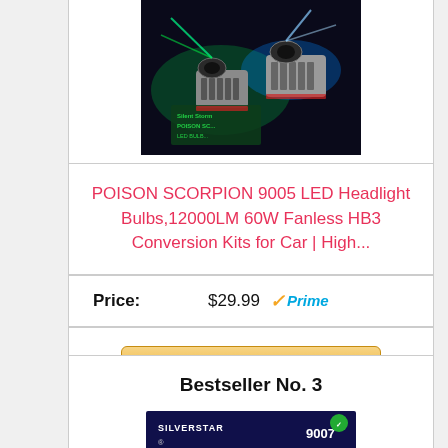[Figure (photo): LED headlight bulbs product photo — Poison Scorpion branded package with two chrome/aluminum bulbs emitting green and blue light]
POISON SCORPION 9005 LED Headlight Bulbs,12000LM 60W Fanless HB3 Conversion Kits for Car | High...
Price: $29.99 Prime
Buy on Amazon
Bestseller No. 3
[Figure (photo): Silverstar 9007 product packaging — partial view at bottom of page]